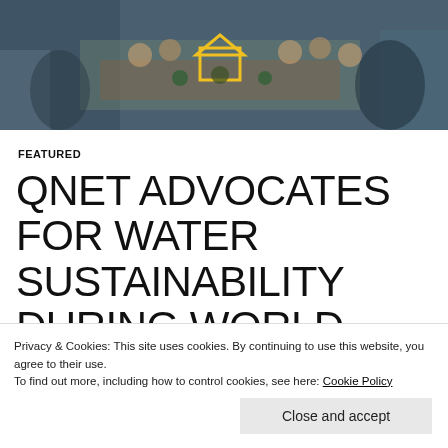[Figure (photo): Children and adults sitting around tables with food and plants, appears to be a community or school event. A yellow house icon is visible in the center of the image.]
FEATURED
QNET ADVOCATES FOR WATER SUSTAINABILITY DURING WORLD WATER WEEK WITH GLOBAL EVENTS
Privacy & Cookies: This site uses cookies. By continuing to use this website, you agree to their use.
To find out more, including how to control cookies, see here: Cookie Policy
Close and accept